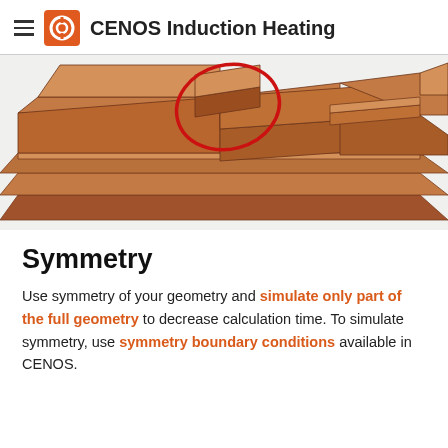CENOS Induction Heating
[Figure (illustration): 3D engineering diagram of a metal component with a red elliptical highlight circle drawn on it, showing layered brown metal parts in a perspective view.]
Symmetry
Use symmetry of your geometry and simulate only part of the full geometry to decrease calculation time. To simulate symmetry, use symmetry boundary conditions available in CENOS.